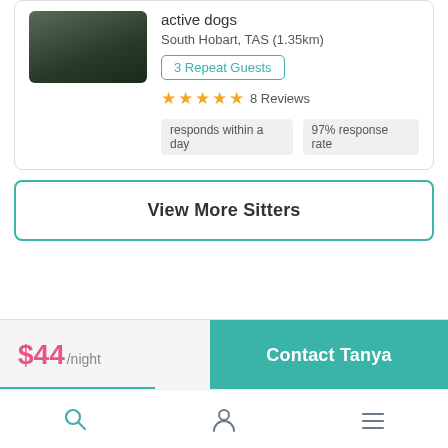[Figure (photo): Profile photo of a person holding a dog]
active dogs
South Hobart, TAS (1.35km)
3 Repeat Guests
8 Reviews
responds within a day   97% response rate
View More Sitters
$44/night
Contact Tanya